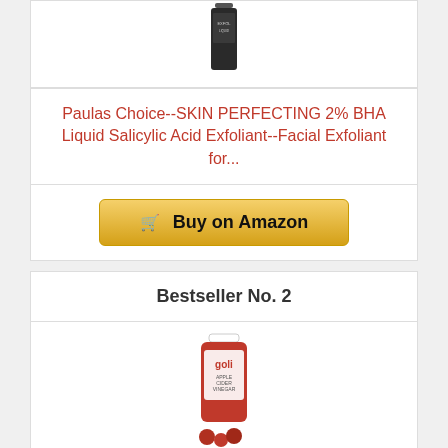[Figure (photo): Product image of Paula's Choice BHA Liquid Exfoliant bottle (dark bottle, partially visible at top)]
Paulas Choice--SKIN PERFECTING 2% BHA Liquid Salicylic Acid Exfoliant--Facial Exfoliant for...
🛒 Buy on Amazon
Bestseller No. 2
[Figure (photo): Product image of Goli Apple Cider Vinegar Gummy Vitamins red bottle with gummies in front]
Goli Apple Cider Vinegar Gummy Vitamins - 60 Count - Vitamins B9 & B12, Gelatin-Free, Gluten-Free,...
Buy on Amazon (button partially visible)